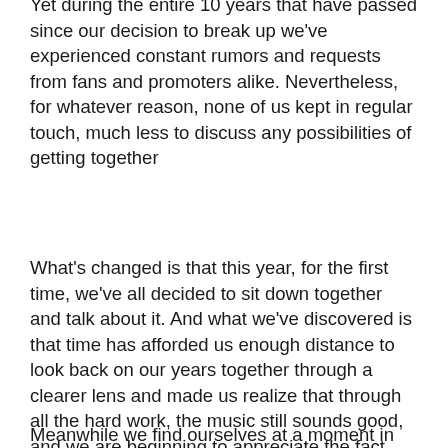Yet during the entire 10 years that have passed since our decision to break up we've experienced constant rumors and requests from fans and promoters alike. Nevertheless, for whatever reason, none of us kept in regular touch, much less to discuss any possibilities of getting together
What's changed is that this year, for the first time, we've all decided to sit down together and talk about it. And what we've discovered is that time has afforded us enough distance to look back on our years together through a clearer lens and made us realize that through all the hard work, the music still sounds good, and we are beginning to appreciate the fact that we might have actually done something right.
Meanwhile we find ourselves at a moment in time with